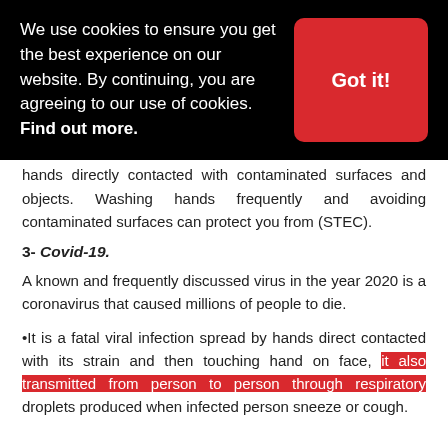We use cookies to ensure you get the best experience on our website. By continuing, you are agreeing to our use of cookies. Find out more. Got it!
vomiting. This STEC is spread by raw foods and unwashed hands directly contacted with contaminated surfaces and objects. Washing hands frequently and avoiding contaminated surfaces can protect you from (STEC).
3- Covid-19.
A known and frequently discussed virus in the year 2020 is a coronavirus that caused millions of people to die.
•It is a fatal viral infection spread by hands direct contacted with its strain and then touching hand on face, it also transmitted from person to person through respiratory droplets produced when infected person sneeze or cough.